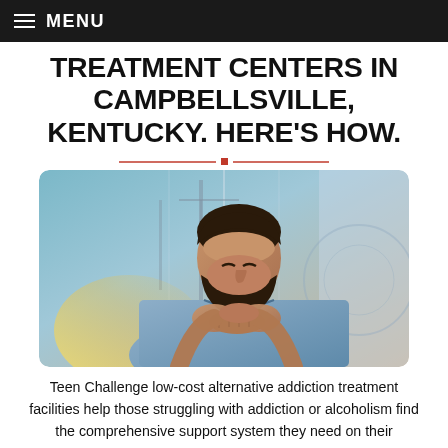MENU
TREATMENT CENTERS IN CAMPBELLSVILLE, KENTUCKY. HERE'S HOW.
[Figure (photo): A bearded man in a blue t-shirt sitting with his hands clasped together near his chin, looking downward in a pensive or distressed pose, with a blurred cityscape background behind him.]
Teen Challenge low-cost alternative addiction treatment facilities help those struggling with addiction or alcoholism find the comprehensive support system they need on their